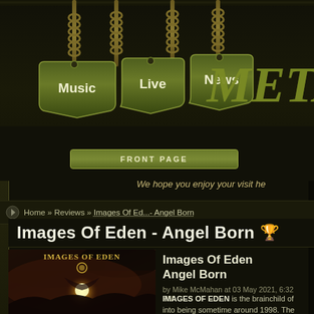[Figure (screenshot): Metal website header with chain-hung navigation signs for Music, Live, News and META logo on dark textured background]
Music  Live  News
FRONT PAGE
We hope you enjoy your visit he
Home » Reviews » Images Of Ed...- Angel Born
Images Of Eden - Angel Born 🏆
[Figure (illustration): Album cover art for Images of Eden - Angel Born showing a fantasy scene with ethereal figure and glowing orb]
Images Of Eden
Angel Born
by Mike McMahan at 03 May 2021, 6:32 PM
IMAGES OF EDEN is the brainchild of into being sometime around 1998. The 2021, and is the follow-up to 2018's "